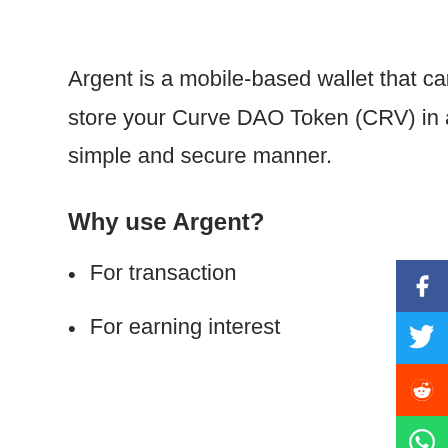Argent is a mobile-based wallet that can store your Curve DAO Token (CRV) in a simple and secure manner.
Why use Argent?
For transaction
For earning interest